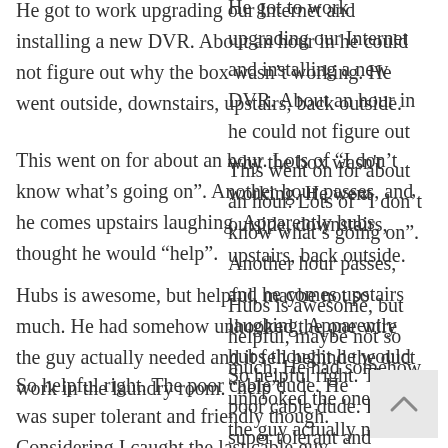He got to work upgrading our Internet and installing a new DVR. About an hour in he could not figure out why the box wasn't working. He went outside, downstairs, upstairs, back outside.
This went on for about an hour. Lots of “I don’t know what’s going on”. Another hour passes, and he comes upstairs laughing. Apparently hubs thought he would “help”.
Hubs is awesome, but helpful, maybe not so much. He had somehow unhooked the one wire the guy actually needed and it fell behind the duct work in the laundry room.
So helpful right. The poor cable dude. He was super tolerant and friendly though. Considering I caught the last cable guy eating a bowl of my kid’s chips this was improvement.
[Figure (other): Back to top arrow button (chevron up icon on light grey background)]